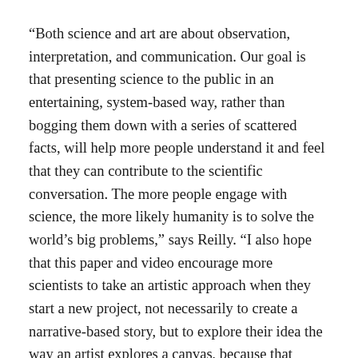“Both science and art are about observation, interpretation, and communication. Our goal is that presenting science to the public in an entertaining, system-based way, rather than bogging them down with a series of scattered facts, will help more people understand it and feel that they can contribute to the scientific conversation. The more people engage with science, the more likely humanity is to solve the world’s big problems,” says Reilly. “I also hope that this paper and video encourage more scientists to take an artistic approach when they start a new project, not necessarily to create a narrative-based story, but to explore their idea the way an artist explores a canvas, because that makes the mind open to a different form of serendipity that can lead to unexpected results.”
“The Wyss Institute is driven by biological design. In this project, we used design tools and approaches borrowed from the art world and applied them to science…